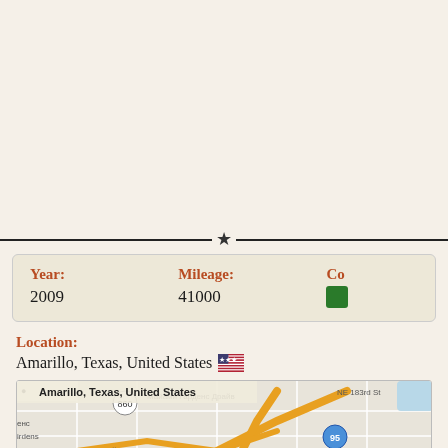| Year: | Mileage: | Co |
| --- | --- | --- |
| 2009 | 41000 |  |
Location: Amarillo, Texas, United States 🇺🇸
[Figure (map): Google map screenshot showing Amarillo, Texas, United States. Map text in Russian/Cyrillic: Майами Гарденс Драйв, Скотт Лейк / Scott Lake, оз. Скотт / Scott Lake. Road labels: 860, 91, 95, 915, NE 183rd St. Yellow/orange highway routes visible.]